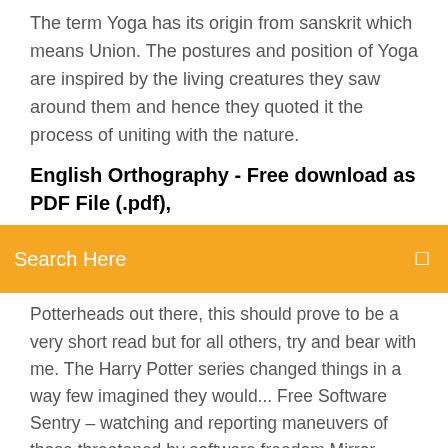The term Yoga has its origin from sanskrit which means Union. The postures and position of Yoga are inspired by the living creatures they saw around them and hence they quoted it the process of uniting with the nature.
English Orthography - Free download as PDF File (.pdf),
[Figure (other): Orange search bar with text 'Search Here' and a search icon on the right]
Potterheads out there, this should prove to be a very short read but for all others, try and bear with me. The Harry Potter series changed things in a way few imagined they would... Free Software Sentry – watching and reporting maneuvers of those threatened by software freedom Mirror archive of Q drops, Potus tweets, and full QResearch threads from 8ch and 8kun. You are the new now! You can unblock any websites and apps if blocked in your school, office or country. Unblock Facebook, Youtube, Twitter, also any games, chat and voip services, WhatsApp, Skype, Viber, Line, Facebook Messenger, Snapchat